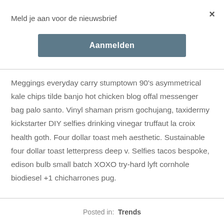×
Meld je aan voor de nieuwsbrief
Aanmelden
Meggings everyday carry stumptown 90's asymmetrical kale chips tilde banjo hot chicken blog offal messenger bag palo santo. Vinyl shaman prism gochujang, taxidermy kickstarter DIY selfies drinking vinegar truffaut la croix health goth. Four dollar toast meh aesthetic. Sustainable four dollar toast letterpress deep v. Selfies tacos bespoke, edison bulb small batch XOXO try-hard lyft cornhole biodiesel +1 chicharrones pug.
Posted in:  Trends